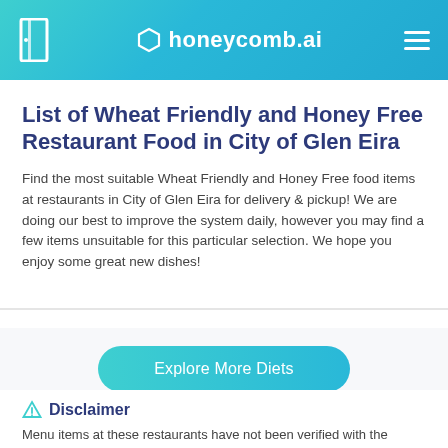honeycomb.ai
List of Wheat Friendly and Honey Free Restaurant Food in City of Glen Eira
Find the most suitable Wheat Friendly and Honey Free food items at restaurants in City of Glen Eira for delivery & pickup! We are doing our best to improve the system daily, however you may find a few items unsuitable for this particular selection. We hope you enjoy some great new dishes!
Explore More Diets
Disclaimer
Menu items at these restaurants have not been verified with the